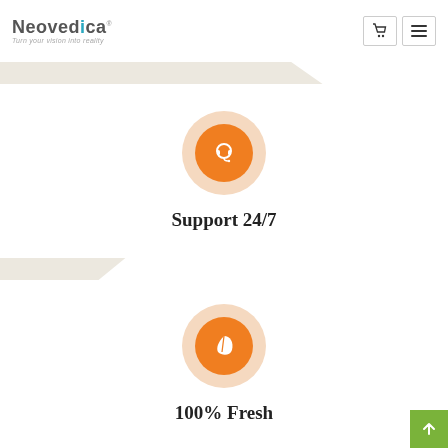[Figure (logo): Neovedica logo with tagline 'Turn your vision into reality' and cart/menu buttons]
[Figure (infographic): Orange headset icon in circular background representing 24/7 support]
Support 24/7
[Figure (infographic): Orange leaf icon in circular background representing 100% Fresh]
100% Fresh